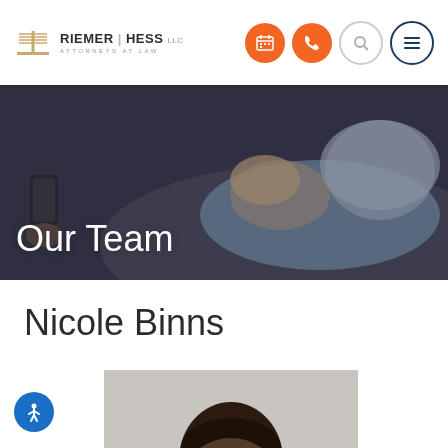RIEMER | HESS LLC — ATTORNEYS AT LAW
[Figure (screenshot): Website header with Riemer Hess LLC law firm logo and navigation icons (calendar, phone, search, menu)]
Our Team
Nicole Binns
[Figure (photo): Profile photo of Nicole Binns, showing top of head, gray background]